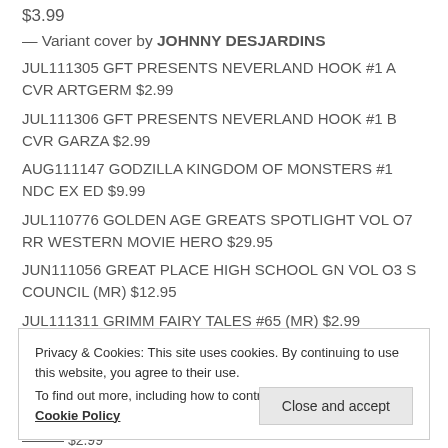$3.99
— Variant cover by JOHNNY DESJARDINS
JUL111305 GFT PRESENTS NEVERLAND HOOK #1 A CVR ARTGERM $2.99
JUL111306 GFT PRESENTS NEVERLAND HOOK #1 B CVR GARZA $2.99
AUG111147 GODZILLA KINGDOM OF MONSTERS #1 NDC EX ED $9.99
JUL110776 GOLDEN AGE GREATS SPOTLIGHT VOL O7 RR WESTERN MOVIE HERO $29.95
JUN111056 GREAT PLACE HIGH SCHOOL GN VOL O3 S COUNCIL (MR) $12.95
JUL111311 GRIMM FAIRY TALES #65 (MR) $2.99
Privacy & Cookies: This site uses cookies. By continuing to use this website, you agree to their use.
To find out more, including how to control cookies, see here: Cookie Policy
Close and accept
PRINT FIG $2.99